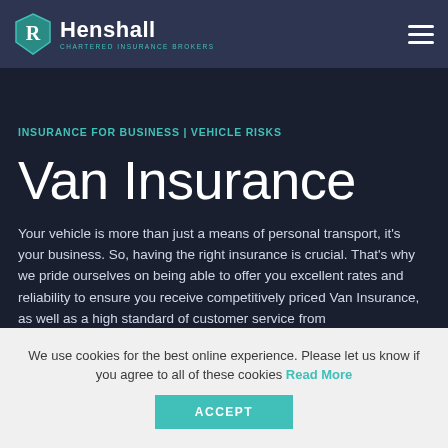Henshall Chartered Insurance Brokers
INSURANCE FOR BUSINESS | VEHICLE RISKS
Van Insurance
Your vehicle is more than just a means of personal transport, it's your business. So, having the right insurance is crucial. That's why we pride ourselves on being able to offer you excellent rates and reliability to ensure you receive competitively priced Van Insurance, as well as a high standard of customer service from
We use cookies for the best online experience. Please let us know if you agree to all of these cookies Read More
ACCEPT